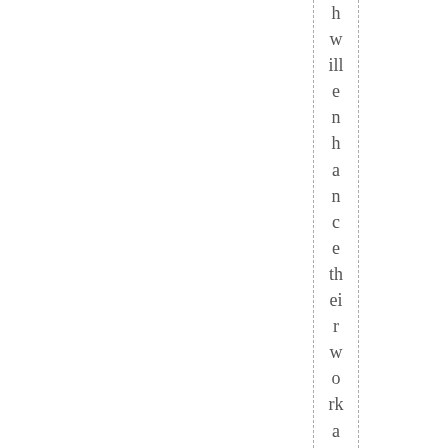h w ill e n h a n c e th ei r w o rk a n d e n c o u r